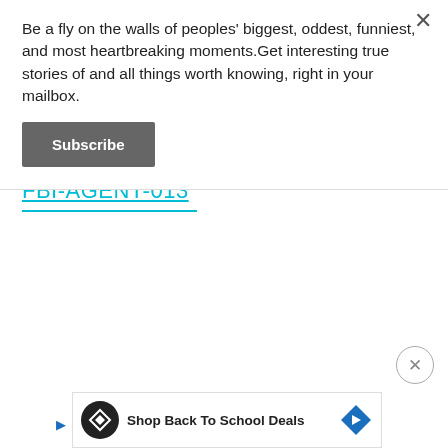Be a fly on the walls of peoples' biggest, oddest, funniest, and most heartbreaking moments.Get interesting true stories of and all things worth knowing, right in your mailbox.
Subscribe
FBI-AGENT-013
[Figure (screenshot): Advertisement banner: Shop Back To School Deals with logo and arrow icon]